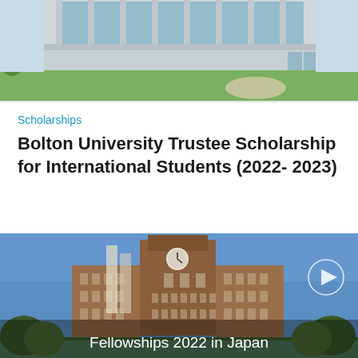[Figure (photo): Exterior of a modern university building with glass facade, green lawn in foreground, daytime]
Scholarships
Bolton University Trustee Scholarship for International Students (2022- 2023)
[Figure (photo): Historic university building with clock tower in Japan against blue sky, with text overlay 'Fellowships 2022 in Japan' and a play button icon]